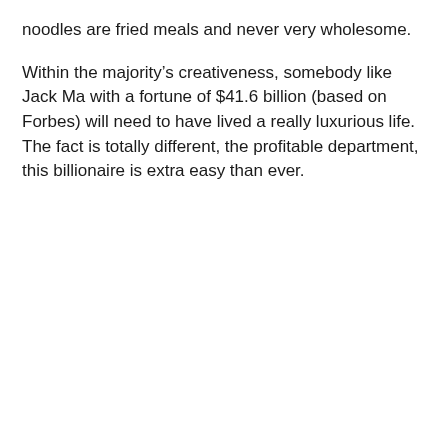noodles are fried meals and never very wholesome.
Within the majority’s creativeness, somebody like Jack Ma with a fortune of $41.6 billion (based on Forbes) will need to have lived a really luxurious life. The fact is totally different, the profitable department, this billionaire is extra easy than ever.